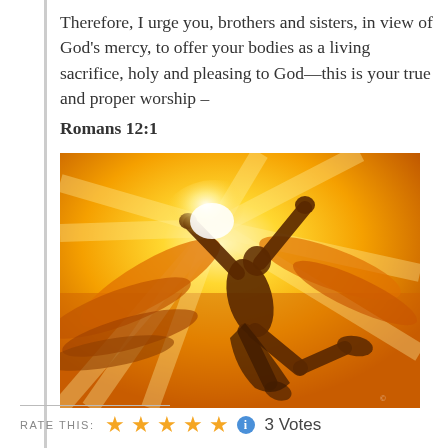Therefore, I urge you, brothers and sisters, in view of God's mercy, to offer your bodies as a living sacrifice, holy and pleasing to God—this is your true and proper worship – Romans 12:1
[Figure (illustration): A golden/amber-toned painting of a human figure with wings outstretched, ascending or diving upward toward a bright white light, rendered in warm orange and yellow tones.]
RATE THIS: ★★★★★ ℹ 3 Votes